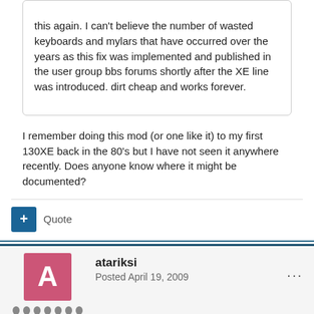this again. I can't believe the number of wasted keyboards and mylars that have occurred over the years as this fix was implemented and published in the user group bbs forums shortly after the XE line was introduced. dirt cheap and works forever.
I remember doing this mod (or one like it) to my first 130XE back in the 80's but I have not seen it anywhere recently. Does anyone know where it might be documented?
Quote
atariksi
Posted April 19, 2009